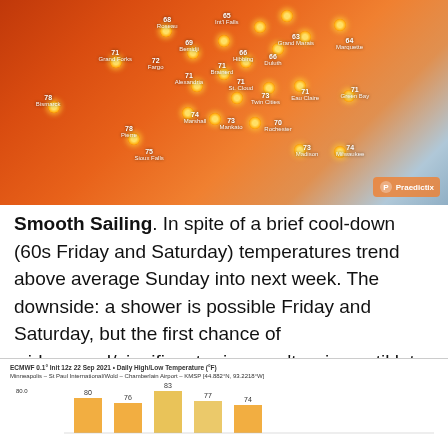[Figure (map): Weather map of Upper Midwest US showing temperature readings (60s-78°F) with sun icons over cities including Bismarck, Pierre, Fargo, Grand Forks, Roseau, Int'l Falls, Bemidji, Hibbing, Grand Marais, Duluth, Marquette, Alexandria, Brainerd, St. Cloud, Twin Cities, Eau Claire, Green Bay, Marshall, Mankato, Rochester, Sioux Falls, Madison, Milwaukee. Warm orange/red background with cooler blue near Great Lakes. Praedictix logo bottom right.]
Smooth Sailing. In spite of a brief cool-down (60s Friday and Saturday) temperatures trend above average Sunday into next week. The downside: a shower is possible Friday and Saturday, but the first chance of widespread/significant rains won't arrive until late next week.
[Figure (bar-chart): ECMWF 0.1° Init 12z 22 Sep 2021 Daily High/Low Temperature chart for Minneapolis - St Paul International/Wold - Chamberlain Airport KMSP [44.882°N, 93.2218°W]. Shows bars at approximately 80, 76, 83, 77, 74.]